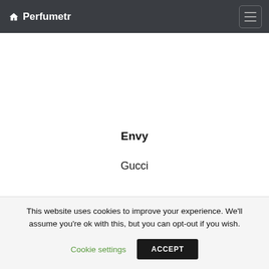🏠 Perfumetr
Envy
Gucci
This website uses cookies to improve your experience. We'll assume you're ok with this, but you can opt-out if you wish.
Cookie settings  ACCEPT